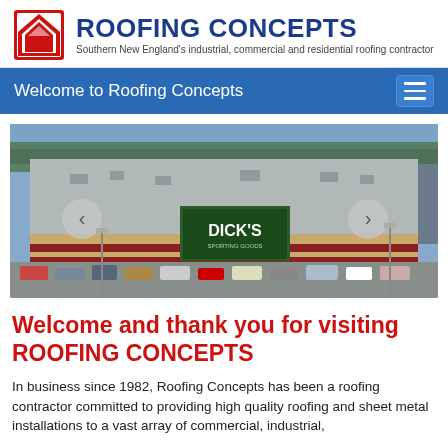[Figure (logo): Roofing Concepts logo: red angular house/roof icon on left, bold dark blue text ROOFING CONCEPTS on right, tagline below: Southern New England's industrial, commercial and residential roofing contractor]
Welcome to Roofing Concepts
[Figure (photo): Aerial drone photograph of a large commercial shopping center with flat roofs, parking lot full of cars, featuring a DICK'S Sporting Goods store prominently in the center]
Welcome and thank you for visiting ROOFING CONCEPTS
In business since 1982, Roofing Concepts has been a roofing contractor committed to providing high quality roofing and sheet metal installations to a vast array of commercial, industrial,